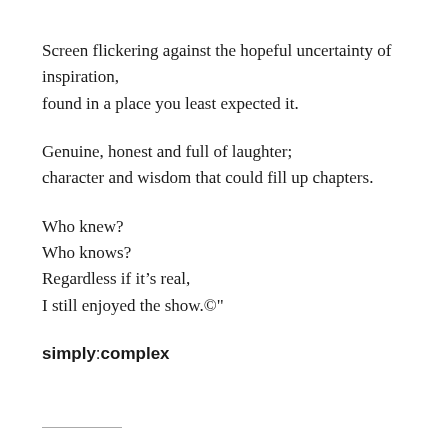Screen flickering against the hopeful uncertainty of inspiration,
found in a place you least expected it.

Genuine, honest and full of laughter;
character and wisdom that could fill up chapters.

Who knew?
Who knows?
Regardless if it's real,
I still enjoyed the show.©"

simply:complex
——